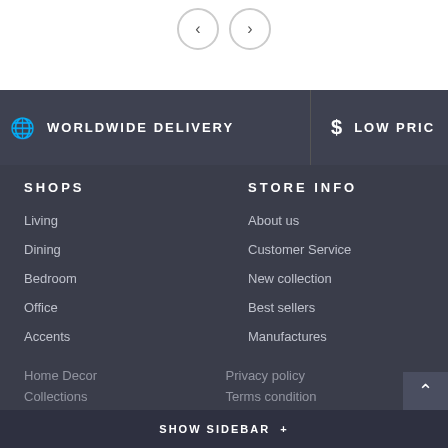[Figure (other): Navigation arrow buttons (left and right) with circular borders on white background]
WORLDWIDE DELIVERY
$ LOW PRIC
SHOPS
STORE INFO
Living
Dining
Bedroom
Office
Accents
About us
Customer Service
New collection
Best sellers
Manufactures
Home Decor
Privacy policy
Collections
Terms condition
SHOW SIDEBAR +